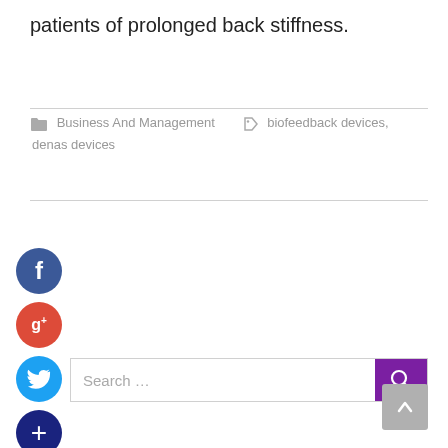patients of prolonged back stiffness.
Business And Management   biofeedback devices, denas devices
[Figure (other): Social media share buttons: Facebook (blue circle with f), Google+ (red circle with g+), Twitter (cyan circle with bird icon), More (dark blue circle with + icon), and a search bar with purple search button, plus a back-to-top button]
[Figure (other): Back to top arrow button (gray rounded square with upward arrow)]